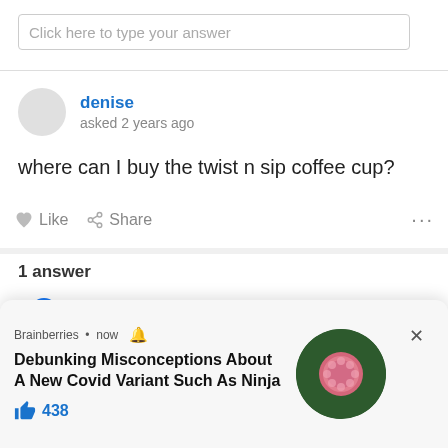Click here to type your answer
denise
asked 2 years ago
where can I buy the twist n sip coffee cup?
Like  Share  ...
1 answer
MIN
2 years ago
I bo... it from Coles Supermarket
Like
[Figure (screenshot): Brainberries notification popup with text 'Debunking Misconceptions About A New Covid Variant Such As Ninja', 438 likes, and a circular image of a pink spikey ball on dark green background with a close button.]